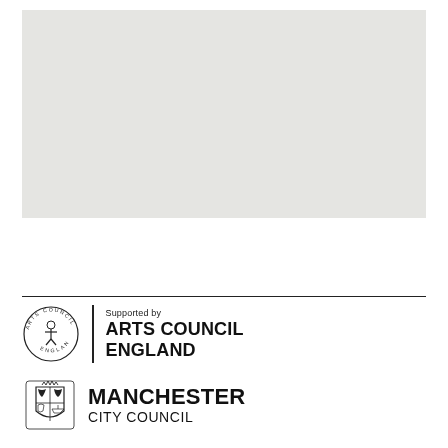[Figure (photo): Large light grey rectangular placeholder image area at top of page]
[Figure (logo): Arts Council England logo - circular emblem with text 'ARTS COUNCIL ENGLAND' and 'Supported by' label]
[Figure (logo): Manchester City Council logo - heraldic crest with text 'MANCHESTER CITY COUNCIL']